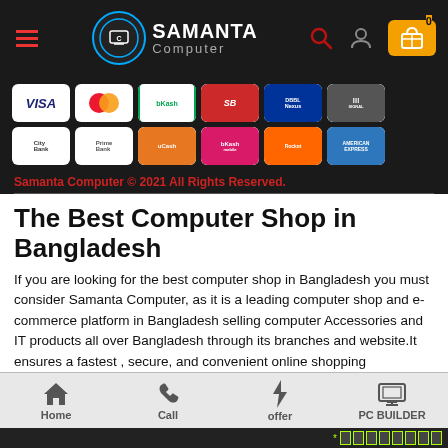Samanta Computer — navigation header with hamburger menu, logo, search, user, and cart icons
[Figure (other): Payment method logos: VISA, Mastercard, bKash, SureCash, DBBL Nexus, Signal; and City Bank, Prime Bank, uCash, bKash, Rocket, American Express]
Samanta Computer © 2021 All Rights Reserved.
The Best Computer Shop in Bangladesh
If you are looking for the best computer shop in Bangladesh you must consider Samanta Computer, as it is a leading computer shop and e-commerce platform in Bangladesh selling computer Accessories and IT products all over Bangladesh through its branches and website.It ensures a fastest , secure, and convenient online shopping experience with a wide range of product offering in categories ranging from desktop PC, laptop to office equipment, Processor, RAM, camera, and smart devices
Home | Call | offer | PC BUILDER